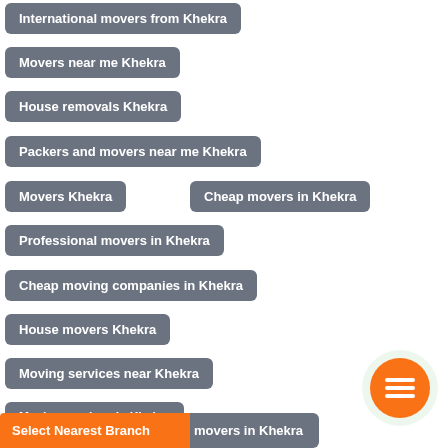International movers from Khekra
Movers near me Khekra
House removals Khekra
Packers and movers near me Khekra
Movers Khekra
Cheap movers in Khekra
Professional movers in Khekra
Cheap moving companies in Khekra
House movers Khekra
Moving services near Khekra
Moving services in Khekra
House movers near Khekra
Local movers in Khekra
Packers movers Khekra
Affordable movers Khekra
movers in Khekra
Select Nearest Branch